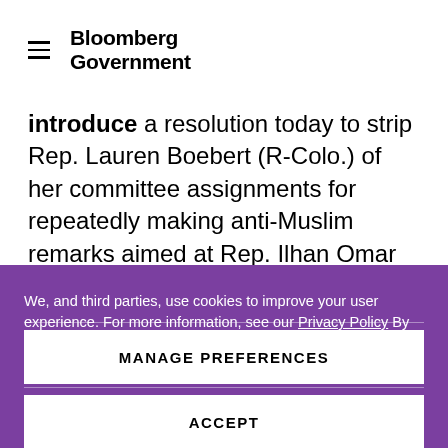Bloomberg Government
introduce a resolution today to strip Rep. Lauren Boebert (R-Colo.) of her committee assignments for repeatedly making anti-Muslim remarks aimed at Rep. Ilhan Omar (D-Minn.), hoping the
We, and third parties, use cookies to improve your user experience. For more information, see our Privacy Policy By clicking "Accept", you agree to the use of cookies. Change your settings anytime using our Cookies Preferences.
MANAGE PREFERENCES
ACCEPT